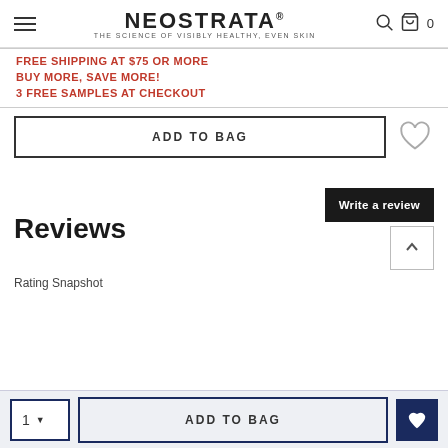NEOSTRATA® — THE SCIENCE OF VISIBLY HEALTHY, EVEN SKIN
FREE SHIPPING AT $75 OR MORE
BUY MORE, SAVE MORE!
3 FREE SAMPLES AT CHECKOUT
ADD TO BAG
Reviews
Write a review
Rating Snapshot
1  ADD TO BAG